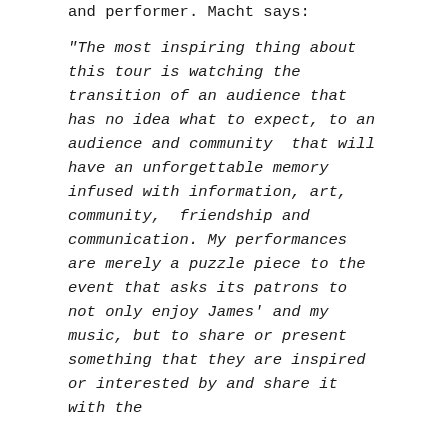and performer. Macht says:
“The most inspiring thing about this tour is watching the transition of an audience that has no idea what to expect, to an audience and community  that will have an unforgettable memory infused with information, art, community,  friendship and communication. My performances are merely a puzzle piece to the event that asks its patrons to not only enjoy James’ and my music, but to share or present something that they are inspired or interested by and share it with the